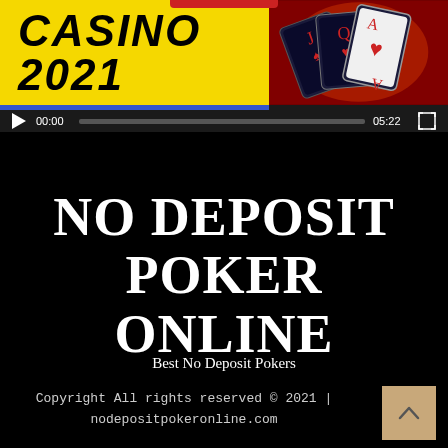[Figure (screenshot): Video player screenshot showing a casino 2021 banner with yellow background and playing cards, plus video controls showing 00:00 current time and 05:22 total duration]
NO DEPOSIT POKER ONLINE
Best No Deposit Pokers
Copyright All rights reserved © 2021 | nodepositpokeronline.com